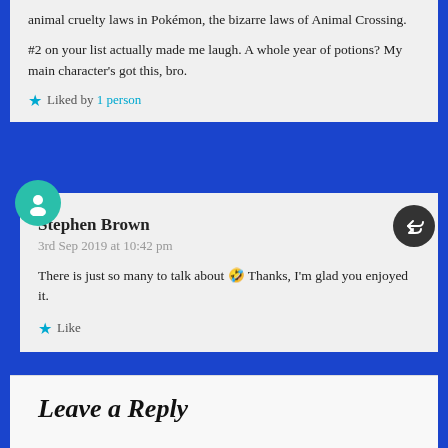animal cruelty laws in Pokemon, the bizarre laws of Animal Crossing.
#2 on your list actually made me laugh. A whole year of potions? My main character's got this, bro.
Liked by 1 person
Stephen Brown
3rd Sep 2019 at 10:42 pm
There is just so many to talk about 🤣 Thanks, I'm glad you enjoyed it.
Like
Leave a Reply